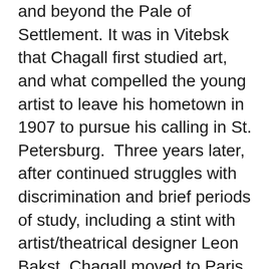and beyond the Pale of Settlement. It was in Vitebsk that Chagall first studied art, and what compelled the young artist to leave his hometown in 1907 to pursue his calling in St. Petersburg.  Three years later, after continued struggles with discrimination and brief periods of study, including a stint with artist/theatrical designer Leon Bakst, Chagall moved to Paris. Once established in the center of the avant-garde activity, Chagall quickly found international success fusing the influence of Jewish and Russian folk traditions with the avant-garde innovations of the Symbolists, Fauves, and Cubists. In 1911, Chagall began work on his first of numerous